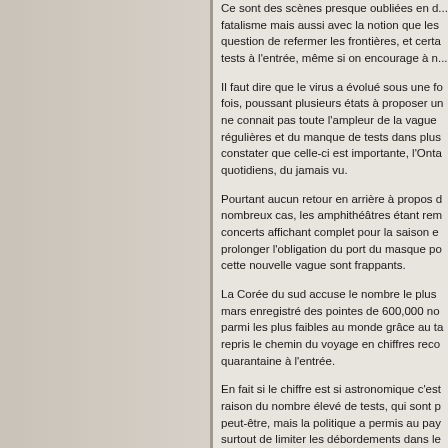Ce sont des scènes presque oubliées en d... fatalisme mais aussi avec la notion que les... question de refermer les frontières, et certa... tests à l'entrée, même si on encourage à n...
Il faut dire que le virus a évolué sous une fo... fois, poussant plusieurs états à proposer un... ne connait pas toute l'ampleur de la vague... régulières et du manque de tests dans plus... constater que celle-ci est importante, l'Onta... quotidiens, du jamais vu.
Pourtant aucun retour en arrière à propos d... nombreux cas, les amphithéâtres étant rem... concerts affichant complet pour la saison e... prolonger l'obligation du port du masque po... cette nouvelle vague sont frappants.
La Corée du sud accuse le nombre le plus... mars enregistré des pointes de 600,000 no... parmi les plus faibles au monde grâce au ta... repris le chemin du voyage en chiffres reco... quarantaine à l'entrée.
En fait si le chiffre est si astronomique c'est... raison du nombre élevé de tests, qui sont p... peut-être, mais la politique a permis au pay... surtout de limiter les débordements dans le... ciblées.
Pas encore de craintes mais une augmenta... d'infections, notamment dans la classe poli... nombre de politiciens infectés secoue les...